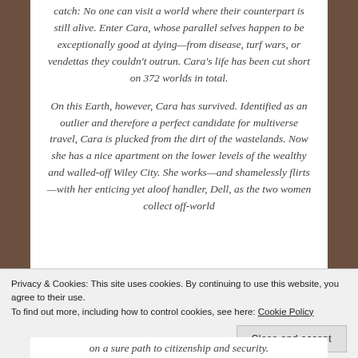catch: No one can visit a world where their counterpart is still alive. Enter Cara, whose parallel selves happen to be exceptionally good at dying—from disease, turf wars, or vendettas they couldn't outrun. Cara's life has been cut short on 372 worlds in total.
On this Earth, however, Cara has survived. Identified as an outlier and therefore a perfect candidate for multiverse travel, Cara is plucked from the dirt of the wastelands. Now she has a nice apartment on the lower levels of the wealthy and walled-off Wiley City. She works—and shamelessly flirts—with her enticing yet aloof handler, Dell, as the two women collect off-world
Privacy & Cookies: This site uses cookies. By continuing to use this website, you agree to their use.
To find out more, including how to control cookies, see here: Cookie Policy
Close and accept
on a sure path to citizenship and security.